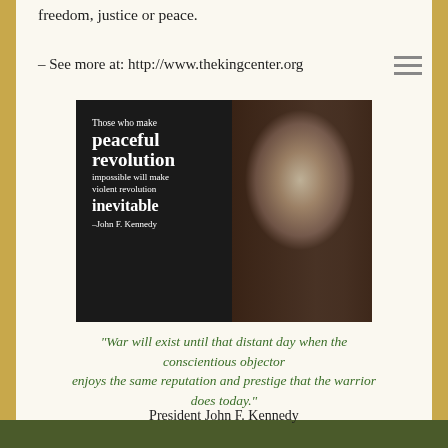freedom, justice or peace.
– See more at: http://www.thekingcenter.org
[Figure (photo): Black and white photo-style image of President John F. Kennedy with overlaid quote text: 'Those who make peaceful revolution impossible will make violent revolution inevitable – John F. Kennedy']
“War will exist until that distant day when the conscientious objector enjoys the same reputation and prestige that the warrior does today.”
President John F. Kennedy